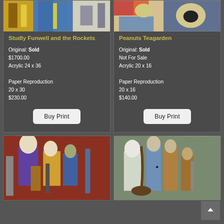[Figure (photo): Painting of jazz musicians with instruments, colorful abstract style - top left card image]
Studly Funwell and the Rockets
Original: Sold
$1700.00
Acrylic 24 x 36

Paper Reproduction
20 x 30
$230.00
[Figure (photo): Painting with abstract eye and musical instruments - top right card image]
Peanuts Teagarden
Original: Sold
Not For Sale
Acrylic 20 x 16

Paper Reproduction
20 x 16
$140.00
[Figure (photo): Painting of jazz musicians on red/brown background - bottom left card image]
[Figure (photo): Painting of jazz musician figures with instruments on green/grey background - bottom right card image]